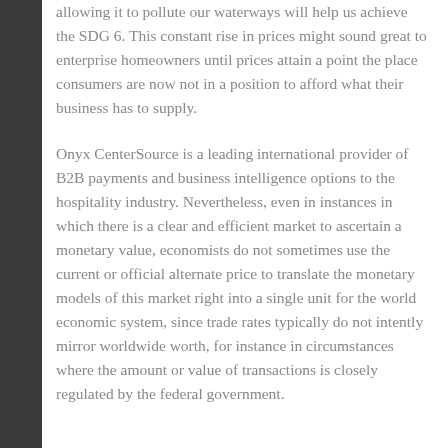allowing it to pollute our waterways will help us achieve the SDG 6. This constant rise in prices might sound great to enterprise homeowners until prices attain a point the place consumers are now not in a position to afford what their business has to supply.
Onyx CenterSource is a leading international provider of B2B payments and business intelligence options to the hospitality industry. Nevertheless, even in instances in which there is a clear and efficient market to ascertain a monetary value, economists do not sometimes use the current or official alternate price to translate the monetary models of this market right into a single unit for the world economic system, since trade rates typically do not intently mirror worldwide worth, for instance in circumstances where the amount or value of transactions is closely regulated by the federal government.